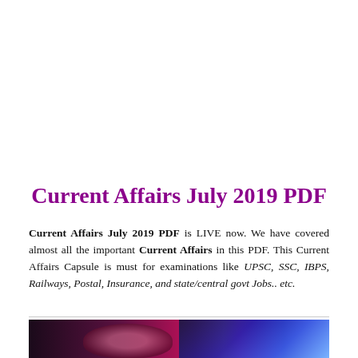Current Affairs July 2019 PDF
Current Affairs July 2019 PDF is LIVE now. We have covered almost all the important Current Affairs in this PDF. This Current Affairs Capsule is must for examinations like UPSC, SSC, IBPS, Railways, Postal, Insurance, and state/central govt Jobs.. etc.
[Figure (photo): A photo showing a person's face with pink/magenta lighting on the left side and a colorful illuminated laptop keyboard on the right side]